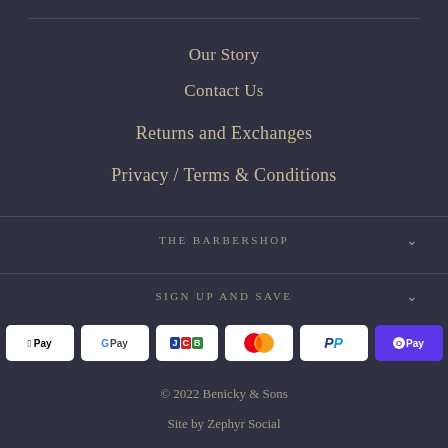Our Story
Contact Us
Returns and Exchanges
Privacy / Terms & Conditions
THE BARBERSHOP
SIGN UP AND SAVE
[Figure (other): Payment method icons: American Express, Apple Pay, Google Pay, JCB, Mastercard, PayPal, OPay, Visa]
© 2022 Benicky & Sons
Site by Zephyr Social